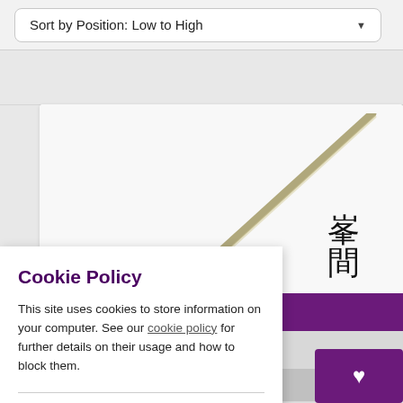Sort by Position: Low to High
[Figure (photo): A wooden or metal jo staff (martial arts weapon) shown diagonally, with Japanese kanji characters on the right side]
Aiki
Cookie Policy
This site uses cookies to store information on your computer. See our cookie policy for further details on their usage and how to block them.
✔  I Agree